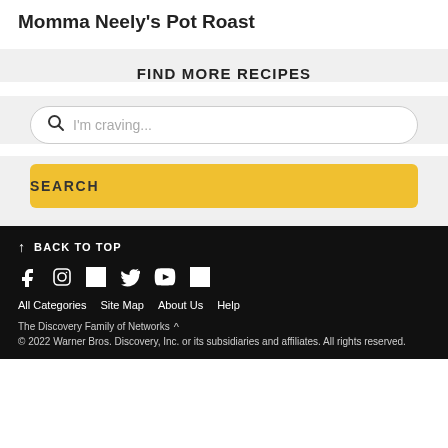Momma Neely's Pot Roast
FIND MORE RECIPES
I'm craving...
SEARCH
↑ BACK TO TOP
Social media icons: Facebook, Instagram, Pinterest, Twitter, YouTube, TikTok
All Categories   Site Map   About Us   Help
The Discovery Family of Networks ^
© 2022 Warner Bros. Discovery, Inc. or its subsidiaries and affiliates. All rights reserved.